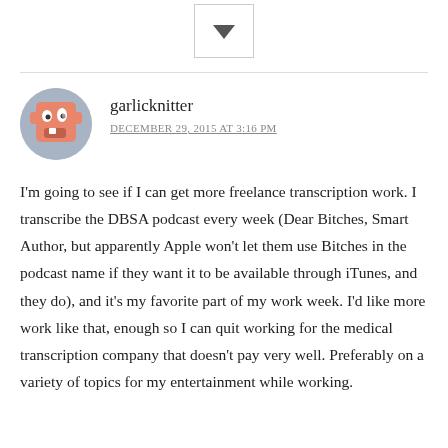[Figure (illustration): A vote/like button with a downward-pointing heart or arrow icon inside a bordered box]
garlicknitter
DECEMBER 29, 2015 AT 3:16 PM
I'm going to see if I can get more freelance transcription work. I transcribe the DBSA podcast every week (Dear Bitches, Smart Author, but apparently Apple won't let them use Bitches in the podcast name if they want it to be available through iTunes, and they do), and it's my favorite part of my work week. I'd like more work like that, enough so I can quit working for the medical transcription company that doesn't pay very well. Preferably on a variety of topics for my entertainment while working.